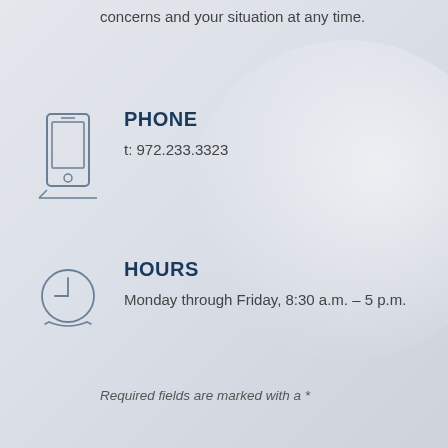concerns and your situation at any time.
PHONE
t: 972.233.3323
[Figure (illustration): Line drawing icon of a mobile phone]
HOURS
Monday through Friday, 8:30 a.m. – 5 p.m.
[Figure (illustration): Line drawing icon of a clock showing approximately 9 o'clock]
Required fields are marked with a *